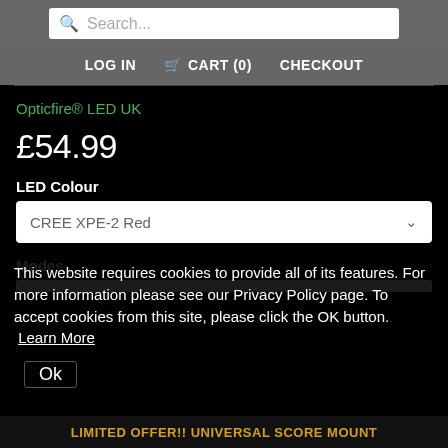Search... LOG IN  CART (0)  CHECKOUT
Opticfire® LED UK
£54.99
LED Colour
CREE XPE-2 Red
Modes
This website requires cookies to provide all of its features. For more information please see our Privacy Policy page. To accept cookies from this site, please click the OK button. Learn More
Ok
LIMITED OFFER!! UNIVERSAL SCORE MOUNT